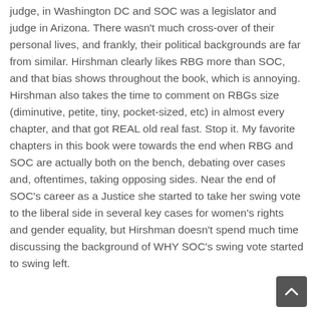judge, in Washington DC and SOC was a legislator and judge in Arizona. There wasn't much cross-over of their personal lives, and frankly, their political backgrounds are far from similar. Hirshman clearly likes RBG more than SOC, and that bias shows throughout the book, which is annoying. Hirshman also takes the time to comment on RBGs size (diminutive, petite, tiny, pocket-sized, etc) in almost every chapter, and that got REAL old real fast. Stop it. My favorite chapters in this book were towards the end when RBG and SOC are actually both on the bench, debating over cases and, oftentimes, taking opposing sides. Near the end of SOC's career as a Justice she started to take her swing vote to the liberal side in several key cases for women's rights and gender equality, but Hirshman doesn't spend much time discussing the background of WHY SOC's swing vote started to swing left.